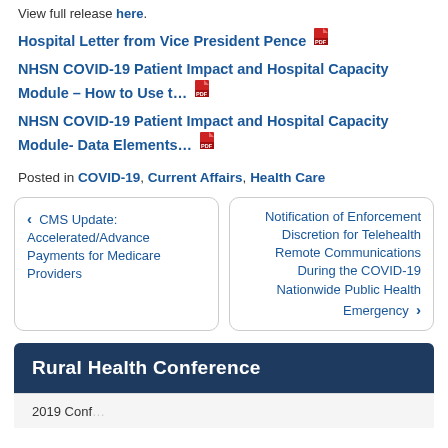View full release here.
Hospital Letter from Vice President Pence [PDF]
NHSN COVID-19 Patient Impact and Hospital Capacity Module – How to Use t… [PDF]
NHSN COVID-19 Patient Impact and Hospital Capacity Module- Data Elements… [PDF]
Posted in COVID-19, Current Affairs, Health Care
< CMS Update: Accelerated/Advance Payments for Medicare Providers
Notification of Enforcement Discretion for Telehealth Remote Communications During the COVID-19 Nationwide Public Health Emergency >
Rural Health Conference
2019 Conference